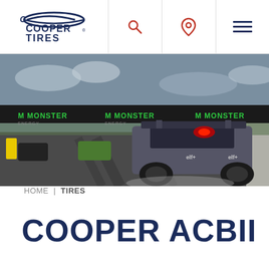[Figure (logo): Cooper Tires logo in navy blue with swoosh graphic above text]
[Figure (photo): Racing cars on a racetrack starting grid with Monster Energy banners overhead, rear view of a rally car in foreground]
HOME | TIRES
COOPER ACBII